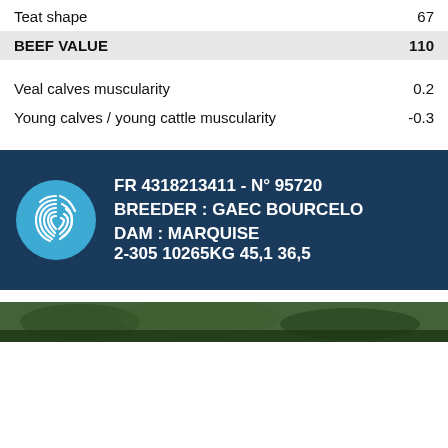| Teat shape | 67 |
| BEEF VALUE | 110 |
| Veal calves muscularity | 0.2 |
| Young calves / young cattle muscularity | -0.3 |
FR 4318213411 - N° 95720
BREEDER : GAEC BOURCELO
DAM : MARQUISE
2-305 10265KG 45,1 36,5
[Figure (photo): Partial photo of a green outdoor/nature scene at the bottom of the page]